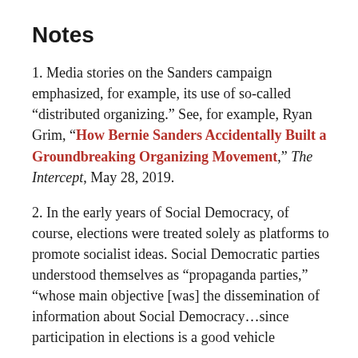Notes
1. Media stories on the Sanders campaign emphasized, for example, its use of so-called “distributed organizing.” See, for example, Ryan Grim, “How Bernie Sanders Accidentally Built a Groundbreaking Organizing Movement,” The Intercept, May 28, 2019.
2. In the early years of Social Democracy, of course, elections were treated solely as platforms to promote socialist ideas. Social Democratic parties understood themselves as “propaganda parties,” “whose main objective [was] the dissemination of information about Social Democracy…since participation in elections is a good vehicle